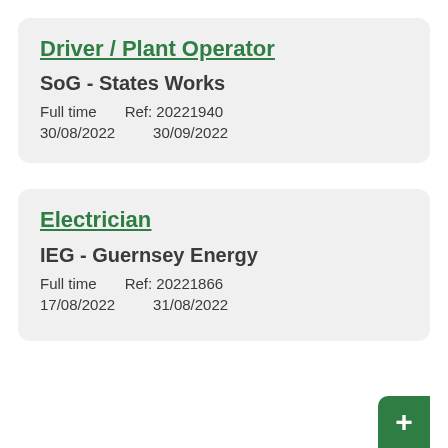Driver / Plant Operator
SoG - States Works
Full time    Ref: 20221940
30/08/2022    30/09/2022
Electrician
IEG - Guernsey Energy
Full time    Ref: 20221866
17/08/2022    31/08/2022